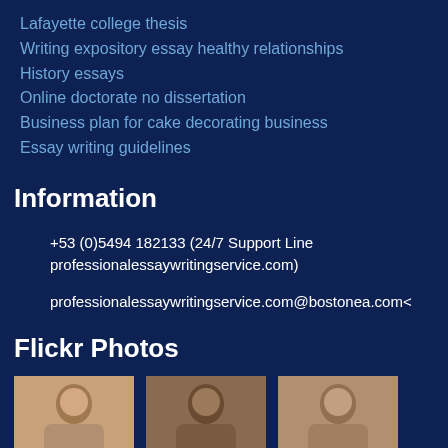Lafayette college thesis
Writing expository essay healthy relationships
History essays
Online doctorate no dissertation
Business plan for cake decorating business
Essay writing guidelines
Information
+53 (0)5494 182133 (24/7 Support Line professionalessaywritingservice.com)
professionalessaywritingservice.com@bostonea.com<
Flickr Photos
[Figure (photo): Three thumbnail photos of people]